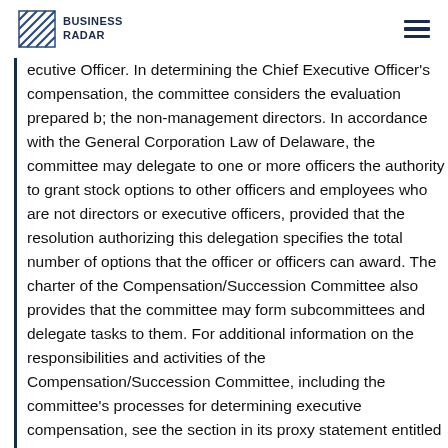BUSINESS RADAR
ecutive Officer. In determining the Chief Executive Officer's compensation, the committee considers the evaluation prepared by the non-management directors. In accordance with the General Corporation Law of Delaware, the committee may delegate to one or more officers the authority to grant stock options to other officers and employees who are not directors or executive officers, provided that the resolution authorizing this delegation specifies the total number of options that the officer or officers can award. The charter of the Compensation/Succession Committee also provides that the committee may form subcommittees and delegate tasks to them. For additional information on the responsibilities and activities of the Compensation/Succession Committee, including the committee's processes for determining executive compensation, see the section in its proxy statement entitled “Compensation Discussion and Analysis”. Nominating/Corporate Governance Committee The Nominating/Corporate Governance Committee consists of Mr.